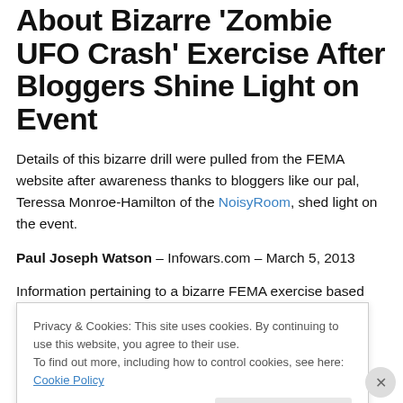About Bizarre 'Zombie UFO Crash' Exercise After Bloggers Shine Light on Event
Details of this bizarre drill were pulled from the FEMA website after awareness thanks to bloggers like our pal, Teressa Monroe-Hamilton of the NoisyRoom, shed light on the event.
Paul Joseph Watson – Infowars.com – March 5, 2013
Information pertaining to a bizarre FEMA exercise based
Privacy & Cookies: This site uses cookies. By continuing to use this website, you agree to their use.
To find out more, including how to control cookies, see here: Cookie Policy
Close and accept